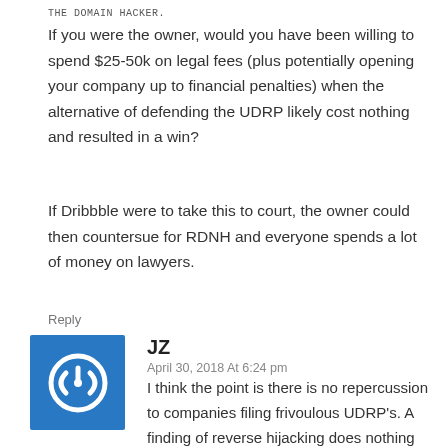THE DOMAIN HACKER
If you were the owner, would you have been willing to spend $25-50k on legal fees (plus potentially opening your company up to financial penalties) when the alternative of defending the UDRP likely cost nothing and resulted in a win?
If Dribbble were to take this to court, the owner could then countersue for RDNH and everyone spends a lot of money on lawyers.
Reply
JZ
April 30, 2018 At 6:24 pm
I think the point is there is no repercussion to companies filing frivoulous UDRP's. A finding of reverse hijacking does nothing really